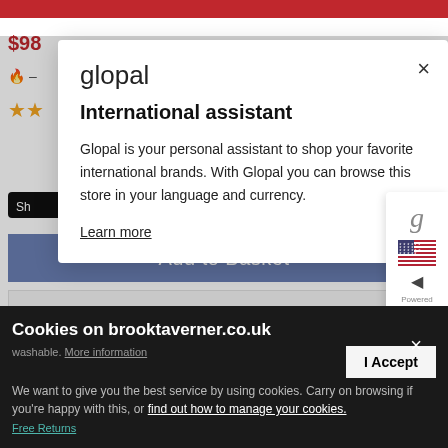[Figure (screenshot): Red promotional banner at top of e-commerce page]
$98
[Figure (screenshot): Fire icon and dash element from product page]
[Figure (screenshot): Two yellow star rating icons]
[Figure (screenshot): Glopal international assistant modal dialog with title 'International assistant', body text about Glopal service, and 'Learn more' link]
Add to Basket
Get To Know Our Fit
[Figure (screenshot): Glopal sidebar widget with G logo, US flag, and 'Powered by Glopal' text]
Cookies on brooktaverner.co.uk
washable. More information
We want to give you the best service by using cookies. Carry on browsing if you're happy with this, or find out how to manage your cookies.
Free Returns